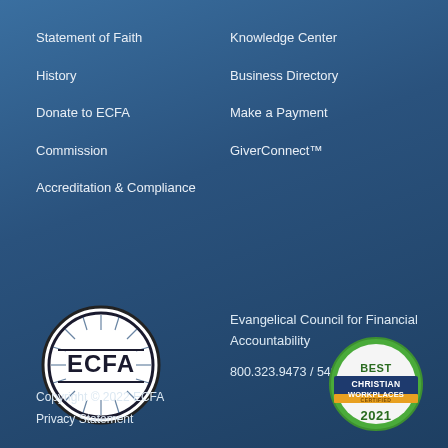Statement of Faith
History
Donate to ECFA
Commission
Accreditation & Compliance
Knowledge Center
Business Directory
Make a Payment
GiverConnect™
[Figure (logo): ECFA circular logo with rays and bold ECFA text]
Evangelical Council for Financial Accountability
800.323.9473 / 540.535.0103
Copyright © 2022 ECFA
Privacy Statement
[Figure (logo): Best Christian Workplaces Certified 2021 badge with green and gold colors]